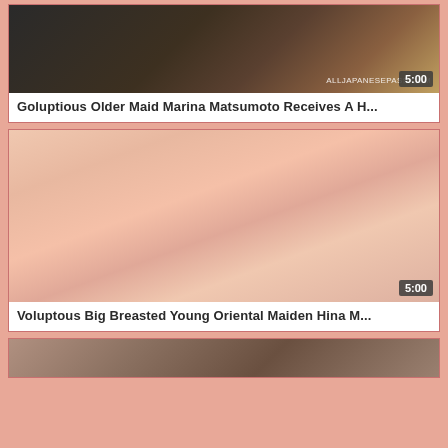[Figure (screenshot): Video thumbnail showing kitchen scene, dark background with text watermark ALLJAPANESEPASS.COM, duration badge 5:00]
Goluptious Older Maid Marina Matsumoto Receives A H...
[Figure (screenshot): Video thumbnail showing close-up skin tones, duration badge 5:00]
Voluptous Big Breasted Young Oriental Maiden Hina M...
[Figure (screenshot): Partial video thumbnail showing dark skin tones at bottom of page]